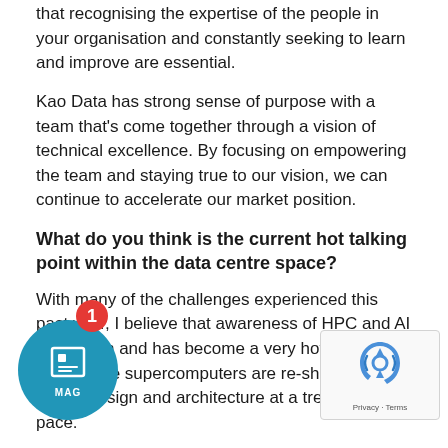that recognising the expertise of the people in your organisation and constantly seeking to learn and improve are essential.
Kao Data has strong sense of purpose with a team that's come together through a vision of technical excellence. By focusing on empowering the team and staying true to our vision, we can continue to accelerate our market position.
What do you think is the current hot talking point within the data centre space?
With many of the challenges experienced this past year, I believe that awareness of HPC and AI has grown and has become a very hot topic – one, where supercomputers are re-shaping data centre design and architecture at a tremendous pace.
Another key discussion point is on how can today's data centres house or accommodate HPC and AI technologies? Especially when so many legacy, or traditionally built facilities, will struggle to power and cool HPC at higher densities and industrial scales.
Having a facility built to OCP-Ready standards, where customers benefit from abundant renewable energy, alongside air-cooled high-density infrastructure is crucial to meet HPC demands. Here data centres must be engineered to accommodate